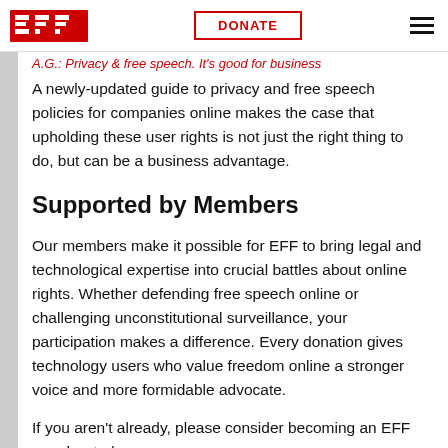EFF | DONATE
A.G.: Privacy & free speech. It's good for business
A newly-updated guide to privacy and free speech policies for companies online makes the case that upholding these user rights is not just the right thing to do, but can be a business advantage.
Supported by Members
Our members make it possible for EFF to bring legal and technological expertise into crucial battles about online rights. Whether defending free speech online or challenging unconstitutional surveillance, your participation makes a difference. Every donation gives technology users who value freedom online a stronger voice and more formidable advocate.
If you aren't already, please consider becoming an EFF member today.